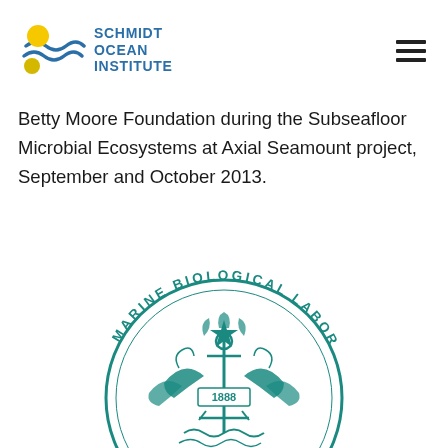[Figure (logo): Schmidt Ocean Institute logo with wave and sun graphic and blue text reading SCHMIDT OCEAN INSTITUTE]
Betty Moore Foundation during the Subseafloor Microbial Ecosystems at Axial Seamount project, September and October 2013.
[Figure (logo): Marine Biological Laboratory circular seal in teal, featuring ornate design with 1888 in center, text reads MARINE BIOLOGICAL LABORATORY around the border]